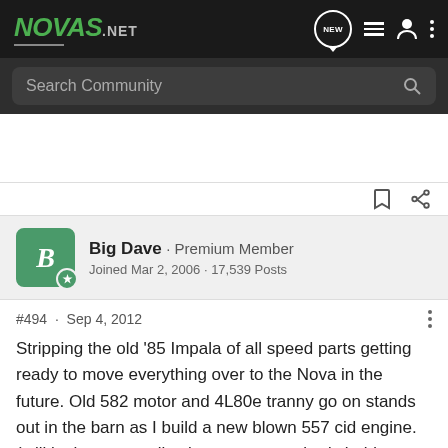NOVAS.NET
Search Community
Big Dave · Premium Member
Joined Mar 2, 2006 · 17,539 Posts
#494 · Sep 4, 2012
Stripping the old '85 Impala of all speed parts getting ready to move everything over to the Nova in the future. Old 582 motor and 4L80e tranny go on stands out in the barn as I build a new blown 557 cid engine. (still in the parts collection stage so nobody hold your breath for this one)